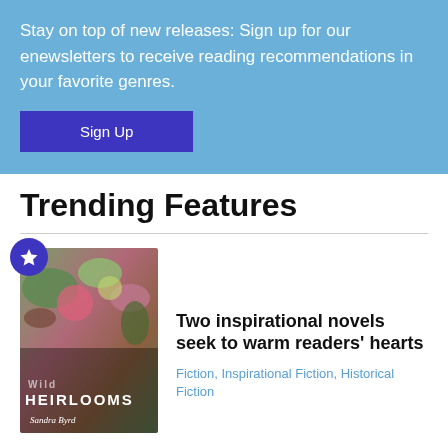Stay on top of new releases: Sign up for our enewsletters to receive reading recommendations in your favorite genres.
Sign Up
Trending Features
[Figure (illustration): Book cover of 'Heirlooms' by Sandra Byrd, showing a floral arrangement with a star badge in the top-left corner]
Two inspirational novels seek to warm readers' hearts
Fiction, Inspirational Fiction, Historical Fiction